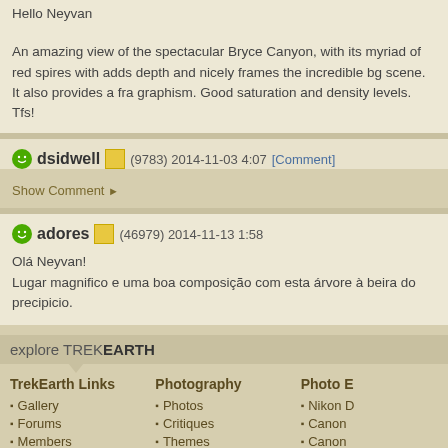Hello Neyvan

An amazing view of the spectacular Bryce Canyon, with its myriad of red spires with adds depth and nicely frames the incredible bg scene. It also provides a fra graphism. Good saturation and density levels. Tfs!
dsidwell (9783) 2014-11-03 4:07 [Comment]
Show Comment ▶
adores (46979) 2014-11-13 1:58
Olá Neyvan!
Lugar magnifico e uma boa composição com esta árvore à beira do precipicio.
explore TREKEARTH
TrekEarth Links
Gallery
Forums
Members
Photography
Photos
Critiques
Themes
Photo E
Nikon D
Canon
Canon